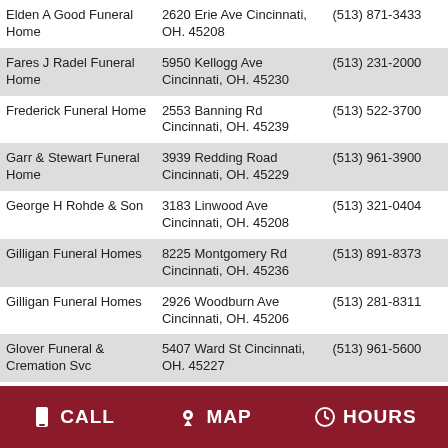| Name | Address | Phone |
| --- | --- | --- |
| Elden A Good Funeral Home | 2620 Erie Ave Cincinnati, OH. 45208 | (513) 871-3433 |
| Fares J Radel Funeral Home | 5950 Kellogg Ave Cincinnati, OH. 45230 | (513) 231-2000 |
| Frederick Funeral Home | 2553 Banning Rd Cincinnati, OH. 45239 | (513) 522-3700 |
| Garr & Stewart Funeral Home | 3939 Redding Road Cincinnati, OH. 45229 | (513) 961-3900 |
| George H Rohde & Son | 3183 Linwood Ave Cincinnati, OH. 45208 | (513) 321-0404 |
| Gilligan Funeral Homes | 8225 Montgomery Rd Cincinnati, OH. 45236 | (513) 891-8373 |
| Gilligan Funeral Homes | 2926 Woodburn Ave Cincinnati, OH. 45206 | (513) 281-8311 |
| Glover Funeral & Cremation Svc | 5407 Ward St Cincinnati, OH. 45227 | (513) 961-5600 |
| Gump-Holt Funeral Home | 3440 Glenmore Ave Cincinnati, OH. 45211 | (513) 661-0690 |
CALL  MAP  HOURS